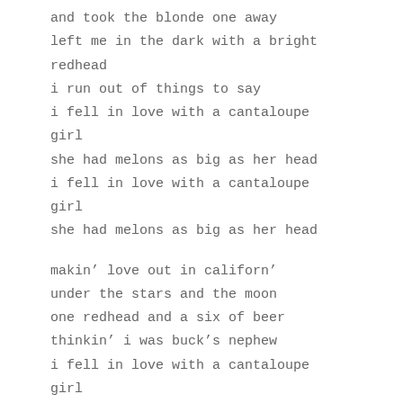and took the blonde one away
left me in the dark with a bright
redhead
i run out of things to say
i fell in love with a cantaloupe
girl
she had melons as big as her head
i fell in love with a cantaloupe
girl
she had melons as big as her head

makin’ love out in californ’
under the stars and the moon
one redhead and a six of beer
thinkin’ i was buck’s nephew
i fell in love with a cantaloupe
girl